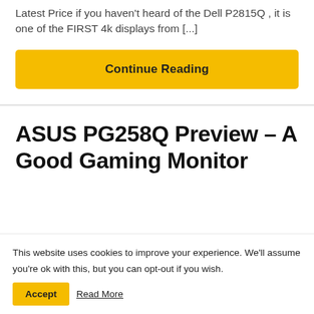Latest Price if you haven't heard of the Dell P2815Q , it is one of the FIRST 4k displays from [...]
Continue Reading
ASUS PG258Q Preview – A Good Gaming Monitor
This website uses cookies to improve your experience. We'll assume you're ok with this, but you can opt-out if you wish. Accept Read More